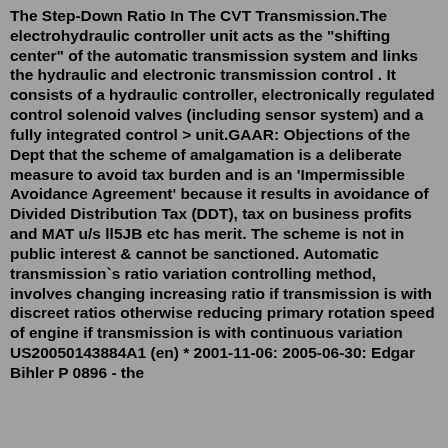The Step-Down Ratio In The CVT Transmission. The electrohydraulic controller unit acts as the "shifting center" of the automatic transmission system and links the hydraulic and electronic transmission control . It consists of a hydraulic controller, electronically regulated control solenoid valves (including sensor system) and a fully integrated control > unit.GAAR: Objections of the Dept that the scheme of amalgamation is a deliberate measure to avoid tax burden and is an 'Impermissible Avoidance Agreement' because it results in avoidance of Divided Distribution Tax (DDT), tax on business profits and MAT u/s ll5JB etc has merit. The scheme is not in public interest & cannot be sanctioned. Automatic transmission`s ratio variation controlling method, involves changing increasing ratio if transmission is with discreet ratios otherwise reducing primary rotation speed of engine if transmission is with continuous variation US20050143884A1 (en) * 2001-11-06: 2005-06-30: Edgar Bihler P 0896 - the